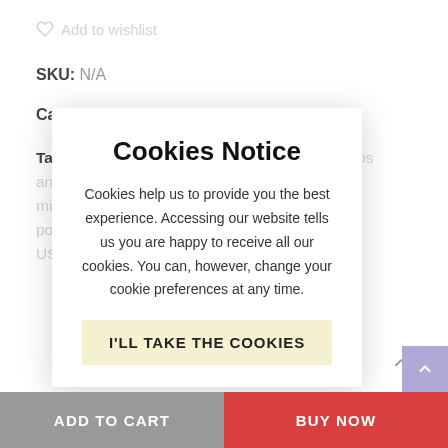Add to wishlist
SKU: N/A
Categories: Posters, Map Posters
Tags: california poster, city wallpaper, colorful los angeles poster, digital posters, geometricart, minimalist posters, san francisco, san jose, ty's posters, US cities
D... reach the
Cookies Notice
Cookies help us to provide you the best experience. Accessing our website tells us you are happy to receive all our cookies. You can, however, change your cookie preferences at any time.
I'LL TAKE THE COOKIES
ADD TO CART
BUY NOW